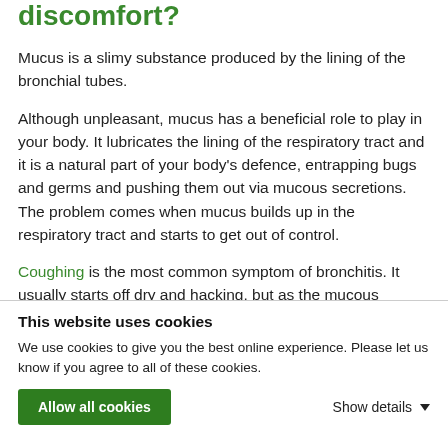discomfort?
Mucus is a slimy substance produced by the lining of the bronchial tubes.
Although unpleasant, mucus has a beneficial role to play in your body. It lubricates the lining of the respiratory tract and it is a natural part of your body's defence, entrapping bugs and germs and pushing them out via mucous secretions. The problem comes when mucus builds up in the respiratory tract and starts to get out of control.
Coughing is the most common symptom of bronchitis. It usually starts off dry and hacking, but as the mucous membranes in the lining of the bronchial tubes become more
This website uses cookies
We use cookies to give you the best online experience. Please let us know if you agree to all of these cookies.
Allow all cookies
Show details